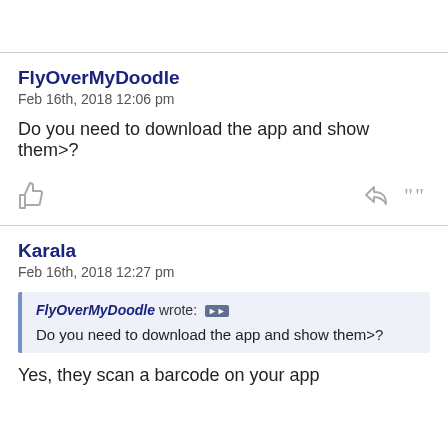FlyOverMyDoodle
Feb 16th, 2018 12:06 pm
Do you need to download the app and show them>?
Karala
Feb 16th, 2018 12:27 pm
FlyOverMyDoodle wrote: [icon] Do you need to download the app and show them>?
Yes, they scan a barcode on your app